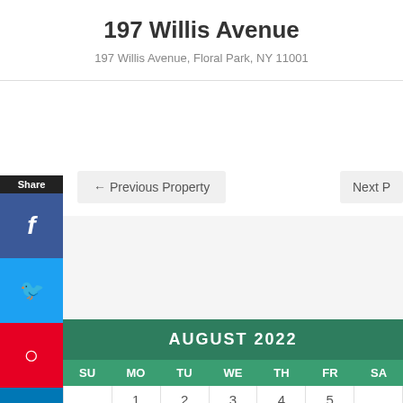197 Willis Avenue
197 Willis Avenue, Floral Park, NY 11001
← Previous Property
Next P
[Figure (screenshot): Social share sidebar with Share label, Facebook, Twitter, Pinterest, LinkedIn icons]
| SU | MO | TU | WE | TH | FR | SA |
| --- | --- | --- | --- | --- | --- | --- |
|  | 1 | 2 | 3 | 4 | 5 |  |
| 7 | 8 | 9 | 10 | 11 | 12 |  |
| 14 | 15 | 16 | 17 | 18 | 19 |  |